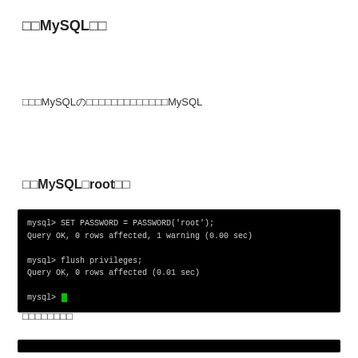□□MySQL□□
□□□MySQLの□□□□□□□□□□□□□MySQLを
□□MySQL□root□□
[Figure (screenshot): Terminal screenshot showing MySQL commands: SET PASSWORD = PASSWORD('root'); Query OK, 0 rows affected, 1 warning (0.00 sec) / flush privileges; Query OK, 0 rows affected (0.01 sec) / mysql> cursor]
□□□□□□□□
[Figure (screenshot): Partial terminal screenshot at bottom of page]